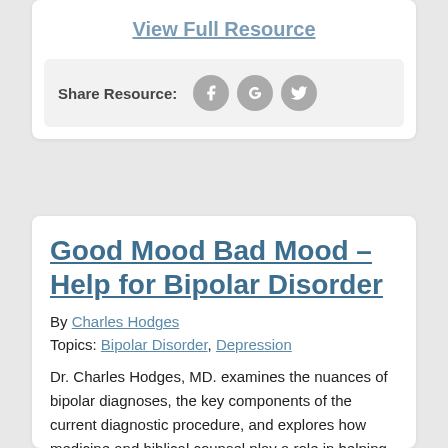View Full Resource
Share Resource:
Good Mood Bad Mood – Help for Bipolar Disorder
By Charles Hodges
Topics: Bipolar Disorder, Depression
Dr. Charles Hodges, MD. examines the nuances of bipolar diagnoses, the key components of the current diagnostic procedure, and explores how medicine and biblical counsel play a role in helping those who